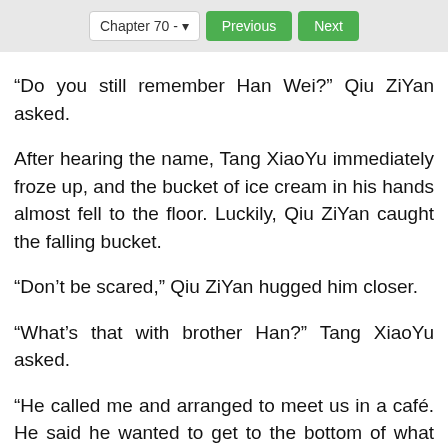Chapter 70 - Previous Next
“Do you still remember Han Wei?” Qiu ZiYan asked.
After hearing the name, Tang XiaoYu immediately froze up, and the bucket of ice cream in his hands almost fell to the floor. Luckily, Qiu ZiYan caught the falling bucket.
“Don’t be scared,” Qiu ZiYan hugged him closer.
“What’s that with brother Han?” Tang XiaoYu asked.
“He called me and arranged to meet us in a café. He said he wanted to get to the bottom of what happened.” Qiu ZiYan held his hand and continued, “I